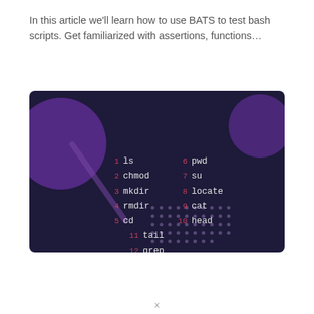In this article we'll learn how to use BATS to test bash scripts. Get familiarized with assertions, functions...
[Figure (illustration): Dark purple terminal/command-line themed graphic showing a numbered list of Linux commands in three columns: 1 ls, 2 chmod, 3 mkdir, 4 rmdir, 5 cd, 6 pwd, 7 su, 8 locate, 9 cat, 10 head, 11 tail, 12 grep, 13 touch, 14 ps, 15 kill. Red numbers on dark background with white command names.]
x